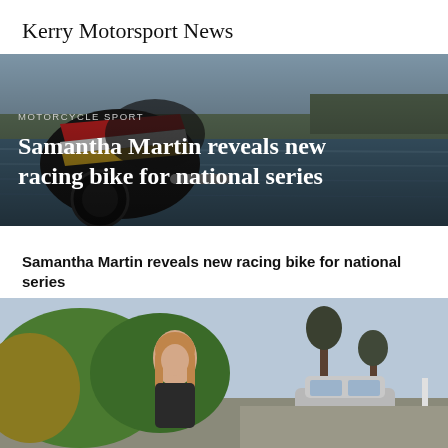Kerry Motorsport News
[Figure (photo): Hero image of a racing motorcycle with colorful livery parked near a lake or waterway, overlaid with article title text]
MOTORCYCLE SPORT
Samantha Martin reveals new racing bike for national series
Samantha Martin reveals new racing bike for national series
[Figure (photo): Photo of a woman with long blonde hair smiling outdoors among green and yellow foliage, with a car park and bare trees visible in the background]